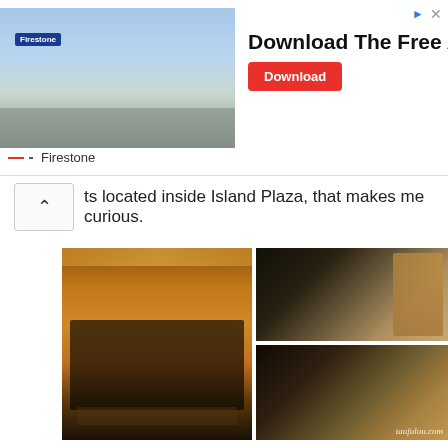[Figure (other): Firestone advertisement banner with building photo on left, 'Download The Free App' headline in center, red Download button on right, close/arrow icons top right, Firestone brand logo bottom left]
ts located inside Island Plaza, that makes me curious.
[Figure (photo): Three restaurant interior photos: left shows warm amber-lit dining room with wall panels and patrons seated; top right shows bar/lounge area with illuminated shelving and bottles; bottom right shows sushi counter with chefs in white uniforms and watermark taufulou.com]